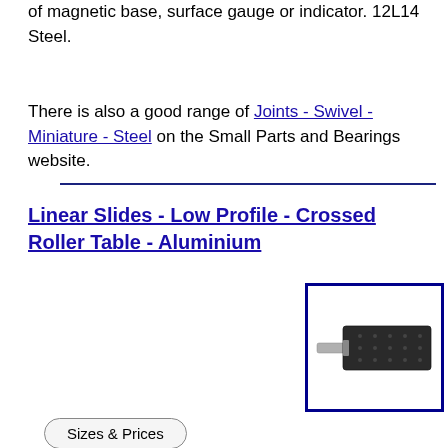of magnetic base, surface gauge or indicator. 12L14 Steel.
There is also a good range of Joints - Swivel - Miniature - Steel on the Small Parts and Bearings website.
Linear Slides - Low Profile - Crossed Roller Table - Aluminium
[Figure (photo): Product photo of a linear slide - low profile crossed roller table in aluminium, showing a dark rectangular block with a small protruding shaft on one end, inside a blue bordered box.]
Sizes & Prices